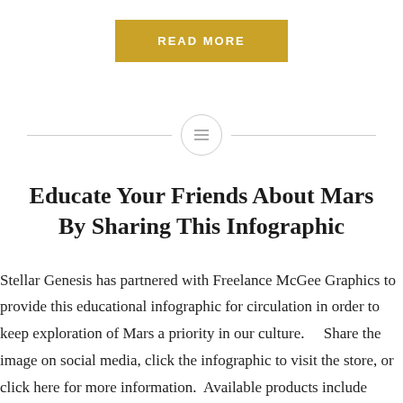[Figure (other): Yellow/gold READ MORE button]
[Figure (other): Horizontal divider with centered circle icon containing three lines]
Educate Your Friends About Mars By Sharing This Infographic
Stellar Genesis has partnered with Freelance McGee Graphics to provide this educational infographic for circulation in order to keep exploration of Mars a priority in our culture.    Share the image on social media, click the infographic to visit the store, or click here for more information.  Available products include stickers